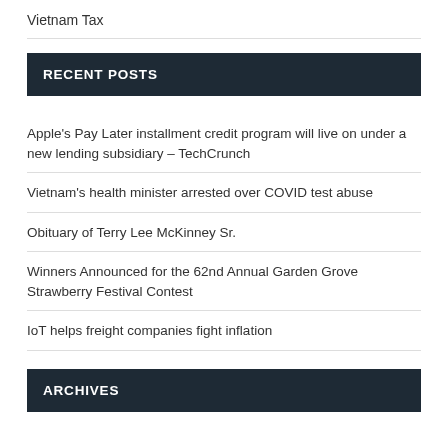Vietnam Tax
RECENT POSTS
Apple's Pay Later installment credit program will live on under a new lending subsidiary – TechCrunch
Vietnam's health minister arrested over COVID test abuse
Obituary of Terry Lee McKinney Sr.
Winners Announced for the 62nd Annual Garden Grove Strawberry Festival Contest
IoT helps freight companies fight inflation
ARCHIVES